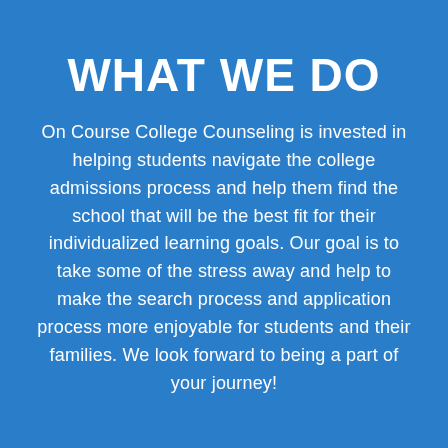WHAT WE DO
On Course College Counseling is invested in helping students navigate the college admissions process and help them find the school that will be the best fit for their individualized learning goals. Our goal is to take some of the stress away and help to make the search process and application process more enjoyable for students and their families. We look forward to being a part of your journey!